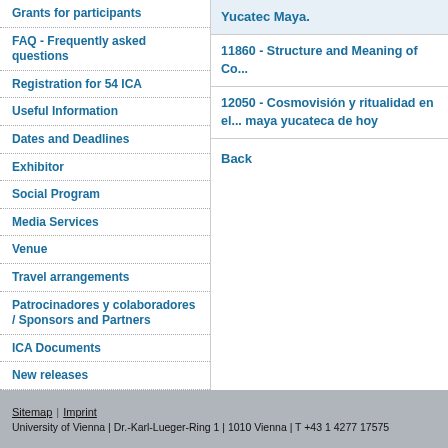Grants for participants
FAQ - Frequently asked questions
Registration for 54 ICA
Useful Information
Dates and Deadlines
Exhibitor
Social Program
Media Services
Venue
Travel arrangements
Patrocinadores y colaboradores / Sponsors and Partners
ICA Documents
New releases
Other congresses
Contact
Yucatec Maya.
11860 - Structure and Meaning of Co...
12050 - Cosmovisión y ritualidad en el... maya yucateca de hoy
Back
Sitemap | Imprint
University of Vienna | Dr.-Karl-Lueger-Ring 1 | 1010 Vienna | T +43 1 4277 17575